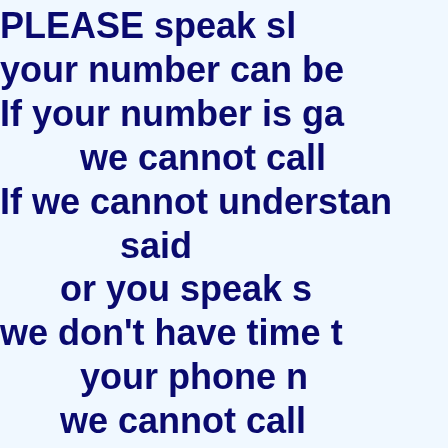PLEASE speak sl your number can be If your number is ga we cannot call If we cannot understan said or you speak s we don't have time t your phone n we cannot call However, emails are ans possib and that will probably b to get an answer to any